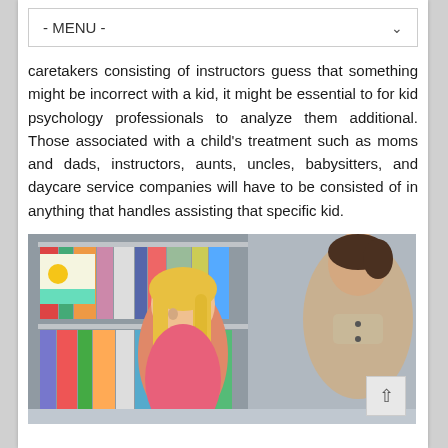- MENU -
caretakers consisting of instructors guess that something might be incorrect with a kid, it might be essential to for kid psychology professionals to analyze them additional. Those associated with a child’s treatment such as moms and dads, instructors, aunts, uncles, babysitters, and daycare service companies will have to be consisted of in anything that handles assisting that specific kid.
[Figure (photo): A young blonde girl in a pink top sitting across from a woman with dark hair in a library or classroom setting with bookshelves in the background]